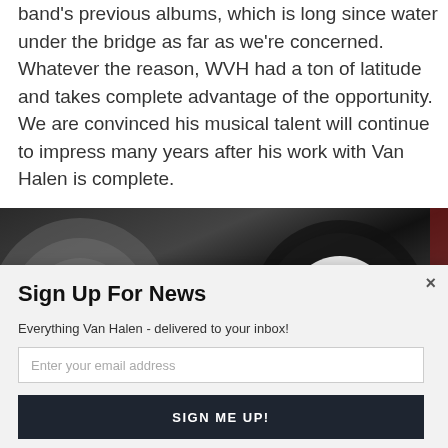band's previous albums, which is long since water under the bridge as far as we're concerned. Whatever the reason, WVH had a ton of latitude and takes complete advantage of the opportunity. We are convinced his musical talent will continue to impress many years after his work with Van Halen is complete.
[Figure (photo): Close-up photo of a vinyl record with a white label showing track listing, with a 'Powered by Sumo' badge overlay]
Sign Up For News
Everything Van Halen - delivered to your inbox!
Enter your email address
SIGN ME UP!